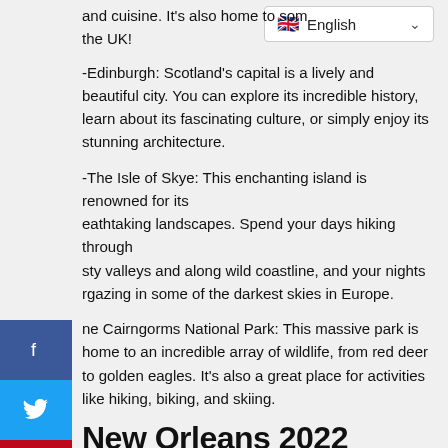and cuisine. It's also home to some of the best pubs in the UK!
-Edinburgh: Scotland's capital is a lively and beautiful city. You can explore its incredible history, learn about its fascinating culture, or simply enjoy its stunning architecture.
-The Isle of Skye: This enchanting island is renowned for its breathtaking landscapes. Spend your days hiking through misty valleys and along wild coastline, and your nights stargazing in some of the darkest skies in Europe.
-The Cairngorms National Park: This massive park is home to an incredible array of wildlife, from red deer to golden eagles. It's also a great place for activities like hiking, biking, and skiing.
New Orleans 2022
Looking for a fascinating, exciting destination in the